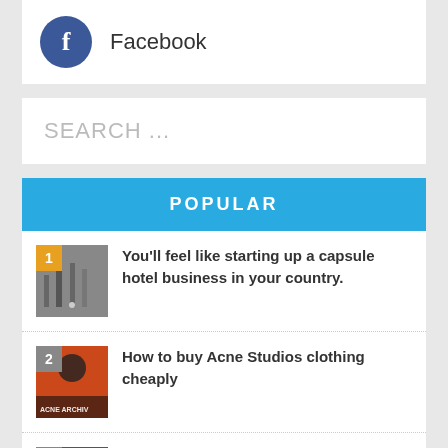[Figure (logo): Facebook logo circle with white f letter and Facebook text]
SEARCH ...
POPULAR
You'll feel like starting up a capsule hotel business in your country.
How to buy Acne Studios clothing cheaply
Japan's Economic Miracle after WW2